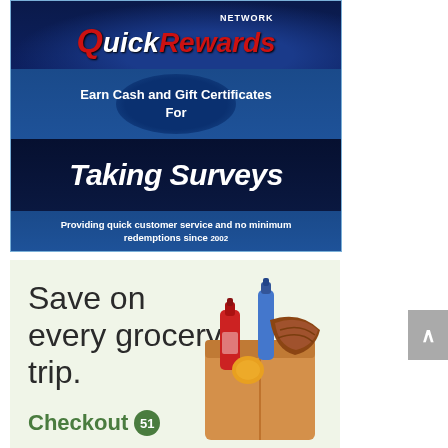[Figure (infographic): QuickRewards Network banner ad on dark blue starry background. Text reads: Earn Cash and Gift Certificates For Taking Surveys. Providing quick customer service and no minimum redemptions since 2002.]
[Figure (infographic): Checkout 51 grocery savings advertisement on light green background. Text: Save on every grocery trip. Checkout 51 logo. Illustrated grocery bag with red bottle, blue bottle, and bread.]